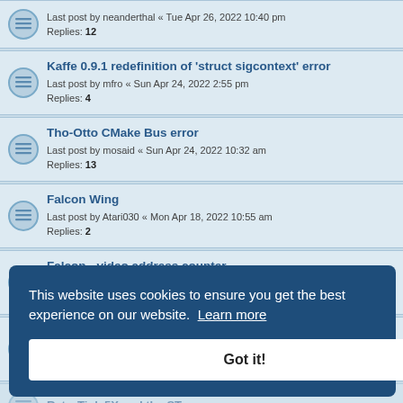Last post by neanderthal « Tue Apr 26, 2022 10:40 pm
Replies: 12
Kaffe 0.9.1 redefinition of 'struct sigcontext' error
Last post by mfro « Sun Apr 24, 2022 2:55 pm
Replies: 4
Tho-Otto CMake Bus error
Last post by mosaid « Sun Apr 24, 2022 10:32 am
Replies: 13
Falcon Wing
Last post by Atari030 « Mon Apr 18, 2022 10:55 am
Replies: 2
Falcon - video address counter
Last post by joska « Mon Apr 18, 2022 7:04 am
Replies: 4
Replacing Atari Falcon inside (internal) speaker
Last post by calimero « Wed Apr 13, 2022 6:45 pm
Replies: 6
RetroTink 5X and the ST...
Video (lfee) Building SDL BEPS...
Searching photo of a Spektrum graphics card
Last post by tOri « Mon Mar 28, 2022 5:53 pm
This website uses cookies to ensure you get the best experience on our website. Learn more
Got it!